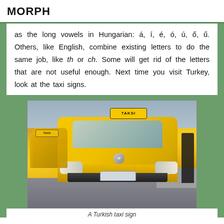MORPH
as the long vowels in Hungarian: á, í, é, ó, ú, ő, ű. Others, like English, combine existing letters to do the same job, like th or ch. Some will get rid of the letters that are not useful enough. Next time you visit Turkey, look at the taxi signs.
[Figure (photo): A line of yellow Turkish taxis (labelled TAKSI) on a city street, with a Hyundai taxi in the foreground.]
A Turkish taxi sign